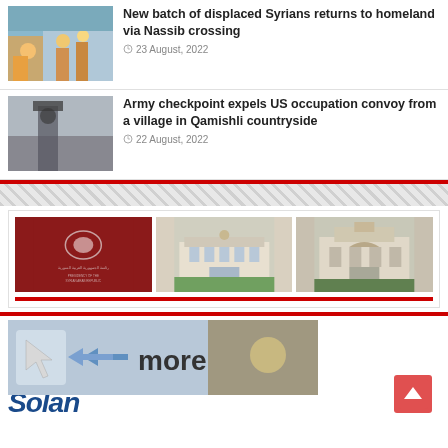[Figure (photo): News article thumbnail showing displaced Syrians near a bus]
New batch of displaced Syrians returns to homeland via Nassib crossing
23 August, 2022
[Figure (photo): News article thumbnail showing an armed soldier at a checkpoint]
Army checkpoint expels US occupation convoy from a village in Qamishli countryside
22 August, 2022
[Figure (photo): Widget panel with three images: Syrian Arab Republic presidency logo, and two government buildings]
[Figure (screenshot): More button banner with cursor icon and partial text 'Solan...']